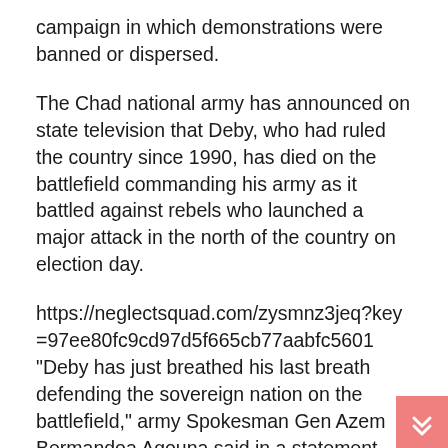campaign in which demonstrations were banned or dispersed.
The Chad national army has announced on state television that Deby, who had ruled the country since 1990, has died on the battlefield commanding his army as it battled against rebels who launched a major attack in the north of the country on election day.
https://neglectsquad.com/zysmnz3jeq?key=97ee80fc9cd97d5f665cb77aabfc5601
“Deby has just breathed his last breath defending the sovereign nation on the battlefield,” army Spokesman Gen Azem Bermandoa Agouna said in a statement read out on state television.
Deby has reportedly ruled Chad with an iron fist for three